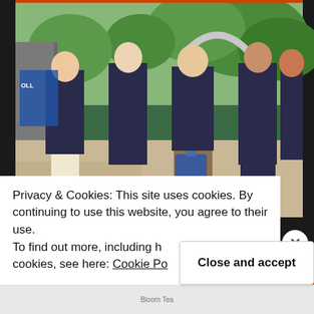[Figure (photo): Group photo of five university students/team members wearing matching dark navy polo shirts with logos, standing outdoors on a campus. From left: a woman in a white skirt holding a small device, a tall man with glasses, a bearded man holding electronic components, a man with glasses, and a man on the right. Trees and a pavilion visible in background. Blue luggage visible near center.]
Privacy & Cookies: This site uses cookies. By continuing to use this website, you agree to their use.
To find out more, including how to control cookies, see here: Cookie Policy